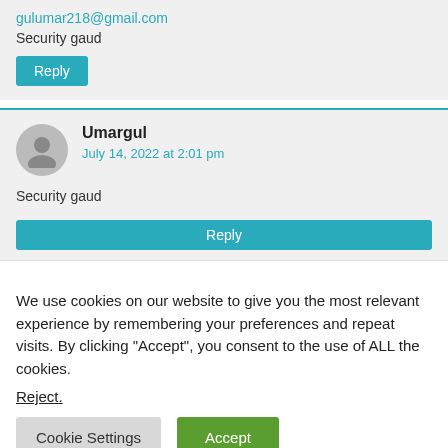gulumar218@gmail.com
Security gaud
Reply
Umargul
July 14, 2022 at 2:01 pm
Security gaud
Reply
We use cookies on our website to give you the most relevant experience by remembering your preferences and repeat visits. By clicking “Accept”, you consent to the use of ALL the cookies.
Reject.
Cookie Settings
Accept